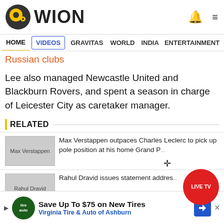WION
HOME | VIDEOS | GRAVITAS | WORLD | INDIA | ENTERTAINMENT | SPORTS
Russian clubs
Lee also managed Newcastle United and Blackburn Rovers, and spent a season in charge of Leicester City as caretaker manager.
RELATED
Max Verstappen outpaces Charles Leclerc to pick up pole position at his home Grand Prix
Rahul Dravid issues statement addres...
Save Up To $75 on New Tires Virginia Tire & Auto of Ashburn